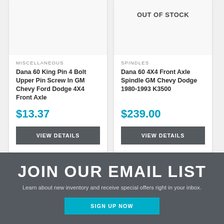OUT OF STOCK
MISCELLANEOUS
Dana 60 King Pin 4 Bolt Upper Pin Screw In GM Chevy Ford Dodge 4X4 Front Axle
$13.37
VIEW DETAILS
SPINDLES
Dana 60 4X4 Front Axle Spindle GM Chevy Dodge 1980-1993 K3500
$239.00
VIEW DETAILS
JOIN OUR EMAIL LIST
Learn about new inventory and receive special offers right in your inbox.
SIGN UP NOW